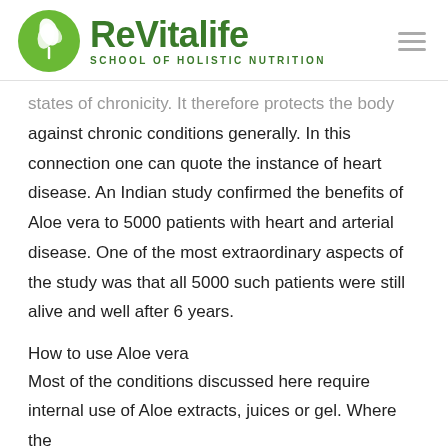ReVitalife SCHOOL OF HOLISTIC NUTRITION
states of chronicity. It therefore protects the body against chronic conditions generally. In this connection one can quote the instance of heart disease. An Indian study confirmed the benefits of Aloe vera to 5000 patients with heart and arterial disease. One of the most extraordinary aspects of the study was that all 5000 such patients were still alive and well after 6 years.
How to use Aloe vera
Most of the conditions discussed here require internal use of Aloe extracts, juices or gel. Where the conditions is...